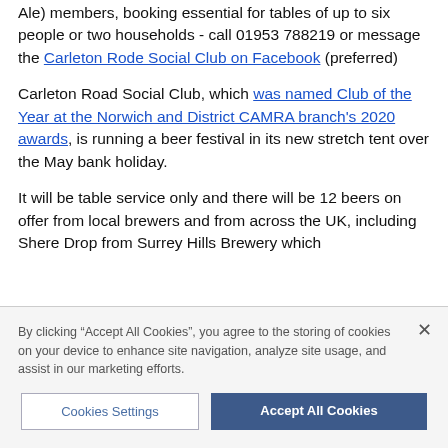Ale) members, booking essential for tables of up to six people or two households - call 01953 788219 or message the Carleton Rode Social Club on Facebook (preferred)
Carleton Road Social Club, which was named Club of the Year at the Norwich and District CAMRA branch's 2020 awards, is running a beer festival in its new stretch tent over the May bank holiday.
It will be table service only and there will be 12 beers on offer from local brewers and from across the UK, including Shere Drop from Surrey Hills Brewery which
By clicking "Accept All Cookies", you agree to the storing of cookies on your device to enhance site navigation, analyze site usage, and assist in our marketing efforts.